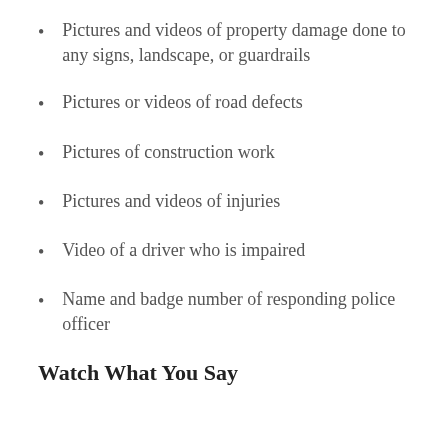Pictures and videos of property damage done to any signs, landscape, or guardrails
Pictures or videos of road defects
Pictures of construction work
Pictures and videos of injuries
Video of a driver who is impaired
Name and badge number of responding police officer
Watch What You Say